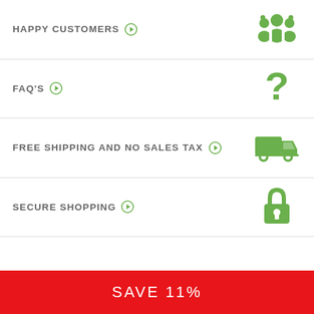HAPPY CUSTOMERS →
FAQ'S →
FREE SHIPPING AND NO SALES TAX →
SECURE SHOPPING →
SAVE 11%